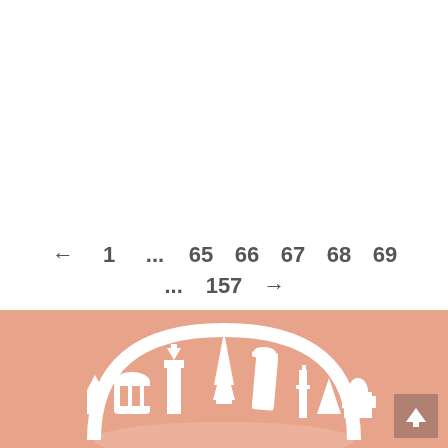← 1 ... 65 66 67 68 69 ... 157 →
[Figure (illustration): Salmon/peach colored footer section with white silhouette illustration of world landmarks arranged in a semicircle (including Eiffel Tower, Leaning Tower of Pisa, and other famous buildings). A darker brownish-red back-to-top button with an upward arrow is in the bottom right corner.]